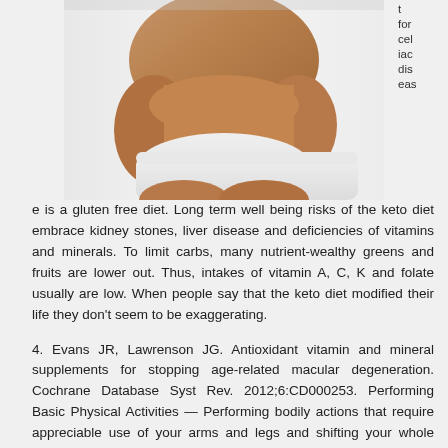[Figure (photo): Photo of a person's torso and lower body wearing white underwear, light beige/tan skin, against a white/light grey background.]
t for celiac disease is a gluten free diet. Long term well being risks of the keto diet embrace kidney stones, liver disease and deficiencies of vitamins and minerals. To limit carbs, many nutrient-wealthy greens and fruits are lower out. Thus, intakes of vitamin A, C, K and folate usually are low. When people say that the keto diet modified their life they don't seem to be exaggerating.
4. Evans JR, Lawrenson JG. Antioxidant vitamin and mineral supplements for stopping age-related macular degeneration. Cochrane Database Syst Rev. 2012;6:CD000253. Performing Basic Physical Activities — Performing bodily actions that require appreciable use of your arms and legs and shifting your whole physique, similar to climbing, lifting, balancing, walking, stooping, and dealing with of materials.